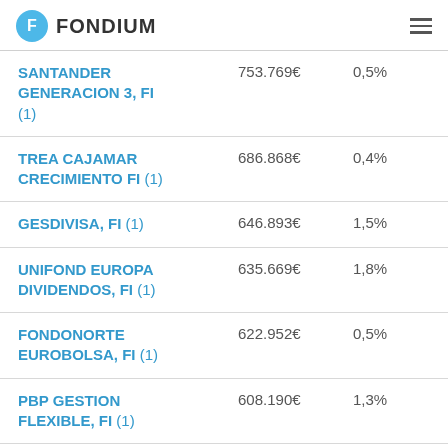FONDIUM
| Fund | Value | Percentage |
| --- | --- | --- |
| SANTANDER GENERACION 3, FI (1) | 753.769€ | 0,5% |
| TREA CAJAMAR CRECIMIENTO FI (1) | 686.868€ | 0,4% |
| GESDIVISA, FI (1) | 646.893€ | 1,5% |
| UNIFOND EUROPA DIVIDENDOS, FI (1) | 635.669€ | 1,8% |
| FONDONORTE EUROBOLSA, FI (1) | 622.952€ | 0,5% |
| PBP GESTION FLEXIBLE, FI (1) | 608.190€ | 1,3% |